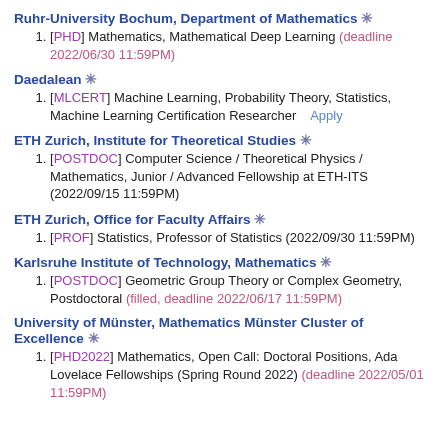Ruhr-University Bochum, Department of Mathematics ✳
[PHD] Mathematics, Mathematical Deep Learning (deadline 2022/06/30 11:59PM)
Daedalean ✳
[MLCERT] Machine Learning, Probability Theory, Statistics, Machine Learning Certification Researcher   Apply
ETH Zurich, Institute for Theoretical Studies ✳
[POSTDOC] Computer Science / Theoretical Physics / Mathematics, Junior / Advanced Fellowship at ETH-ITS (2022/09/15 11:59PM)
ETH Zurich, Office for Faculty Affairs ✳
[PROF] Statistics, Professor of Statistics (2022/09/30 11:59PM)
Karlsruhe Institute of Technology, Mathematics ✳
[POSTDOC] Geometric Group Theory or Complex Geometry, Postdoctoral (filled, deadline 2022/06/17 11:59PM)
University of Münster, Mathematics Münster Cluster of Excellence ✳
[PHD2022] Mathematics, Open Call: Doctoral Positions, Ada Lovelace Fellowships (Spring Round 2022) (deadline 2022/05/01 11:59PM)